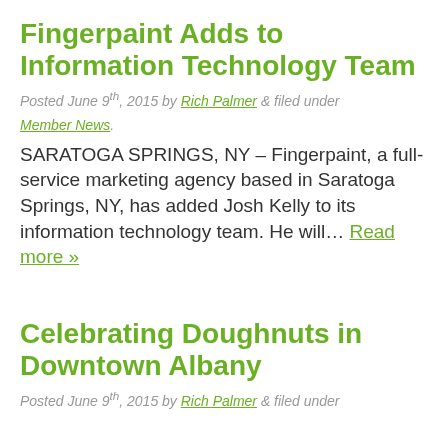Fingerpaint Adds to Information Technology Team
Posted June 9th, 2015 by Rich Palmer & filed under Member News.
SARATOGA SPRINGS, NY – Fingerpaint, a full-service marketing agency based in Saratoga Springs, NY, has added Josh Kelly to its information technology team. He will... Read more »
Celebrating Doughnuts in Downtown Albany
Posted June 9th, 2015 by Rich Palmer & filed under